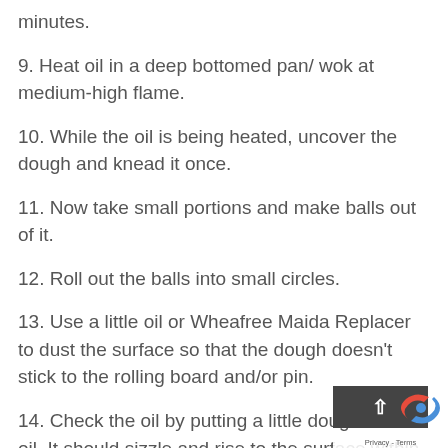minutes.
9. Heat oil in a deep bottomed pan/ wok at medium-high flame.
10. While the oil is being heated, uncover the dough and knead it once.
11. Now take small portions and make balls out of it.
12. Roll out the balls into small circles.
13. Use a little oil or Wheafree Maida Replacer to dust the surface so that the dough doesn't stick to the rolling board and/or pin.
14. Check the oil by putting a little dough in the oil. It should sizzle and rise to the surface within a few seconds, that's the perfect oil temperature. If the